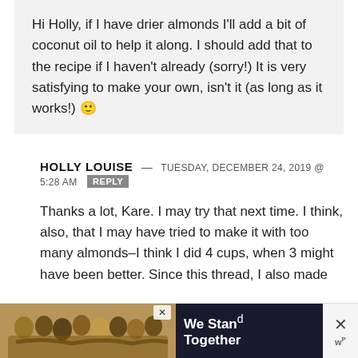Hi Holly, if I have drier almonds I'll add a bit of coconut oil to help it along. I should add that to the recipe if I haven't already (sorry!) It is very satisfying to make your own, isn't it (as long as it works!) 🙂
HOLLY LOUISE — TUESDAY, DECEMBER 24, 2019 @ 5:28 AM [REPLY]
Thanks a lot, Kare. I may try that next time. I think, also, that I may have tried to make it with too many almonds–I think I did 4 cups, when 3 might have been better. Since this thread, I also made
[Figure (photo): Advertisement banner at bottom: photo of group of people with arms around each other, with text 'We Stand Together' and close button]